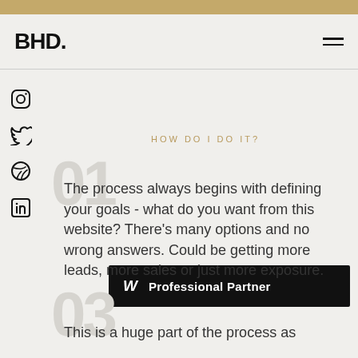BHD.
HOW DO I DO IT?
The process always begins with defining your goals - what do you want from this website? There's many options and no wrong answers. Could be getting more leads, more sales or just more exposure.
[Figure (logo): Webflow Professional Partner badge — black rectangle with stylized W logo and text 'Professional Partner' in white]
This is a huge part of the process as